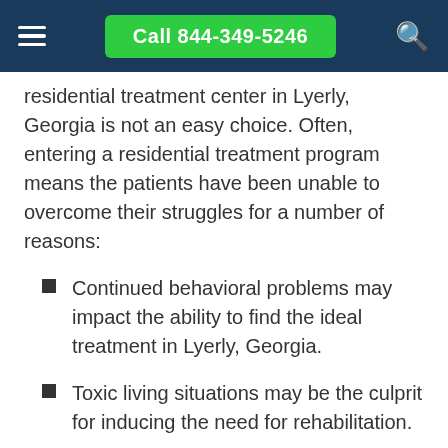Call 844-349-5246
residential treatment center in Lyerly, Georgia is not an easy choice. Often, entering a residential treatment program means the patients have been unable to overcome their struggles for a number of reasons:
Continued behavioral problems may impact the ability to find the ideal treatment in Lyerly, Georgia.
Toxic living situations may be the culprit for inducing the need for rehabilitation.